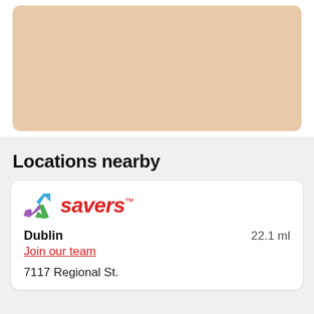[Figure (map): A map area showing a beige/tan colored map background with rounded corners, representing a geographic map view.]
Locations nearby
[Figure (logo): Savers logo with a tri-color recycling arrow icon (blue, purple, green) and the red italic wordmark 'savers' with trademark symbol.]
Dublin   22.1 ml
Join our team
7117 Regional St.